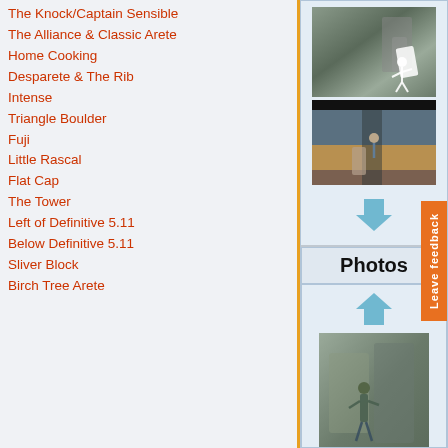The Knock/Captain Sensible
The Alliance & Classic Arete
Home Cooking
Desparete & The Rib
Intense
Triangle Boulder
Fuji
Little Rascal
Flat Cap
The Tower
Left of Definitive 5.11
Below Definitive 5.11
Sliver Block
Birch Tree Arete
[Figure (photo): Rock climbing photo showing a climber on a large dark boulder/face, outdoors]
[Figure (photo): Rock climbing photo with dark top bar, showing climber in a narrow canyon or crack between boulders]
Photos
[Figure (photo): Rock climbing photo showing a climber on a rocky face outdoors]